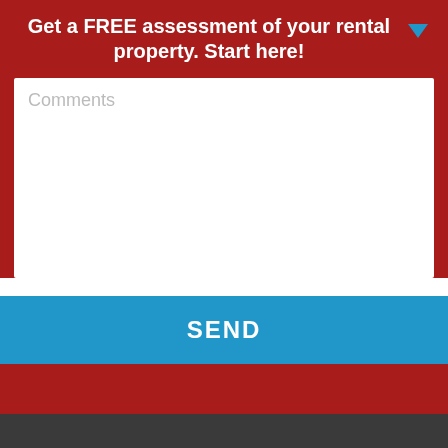Get a FREE assessment of your rental property. Start here!
Comments
SEND
Real Property Management Citywide
4500 Hugh Howell Rd #170
Tucker, Georgia 30084